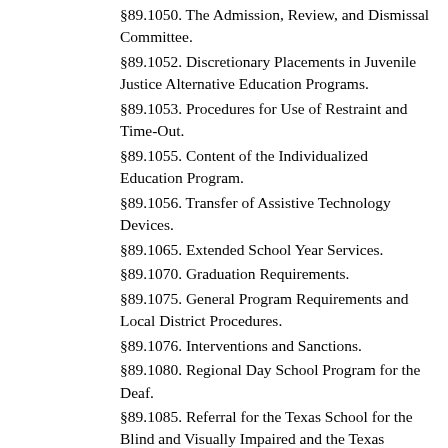§89.1050. The Admission, Review, and Dismissal Committee.
§89.1052. Discretionary Placements in Juvenile Justice Alternative Education Programs.
§89.1053. Procedures for Use of Restraint and Time-Out.
§89.1055. Content of the Individualized Education Program.
§89.1056. Transfer of Assistive Technology Devices.
§89.1065. Extended School Year Services.
§89.1070. Graduation Requirements.
§89.1075. General Program Requirements and Local District Procedures.
§89.1076. Interventions and Sanctions.
§89.1080. Regional Day School Program for the Deaf.
§89.1085. Referral for the Texas School for the Blind and Visually Impaired and the Texas School for the Deaf Services.
§89.1090. Transportation of Students Placed in a Residential Setting, Including the Texas School for the